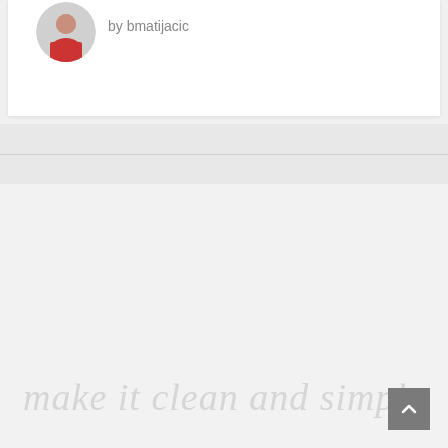[Figure (photo): Circular avatar/profile photo of a person wearing red, shown in the top-left of a white card]
by bmatijacic
make it clean and simple
[Figure (other): Scroll-to-top button (dark grey square with upward chevron arrow) in bottom-right corner]